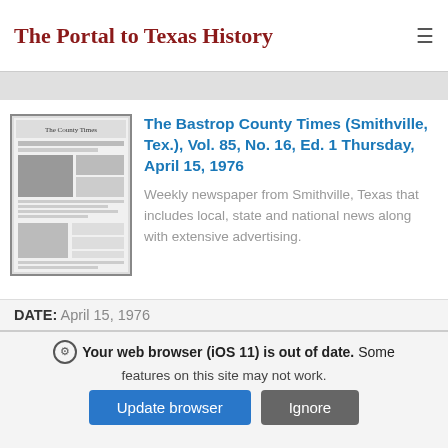The Portal to Texas History
[Figure (screenshot): Thumbnail of The Bastrop County Times newspaper front page, black and white]
The Bastrop County Times (Smithville, Tex.), Vol. 85, No. 16, Ed. 1 Thursday, April 15, 1976
Weekly newspaper from Smithville, Texas that includes local, state and national news along with extensive advertising.
DATE: April 15, 1976
Your web browser (iOS 11) is out of date. Some features on this site may not work.